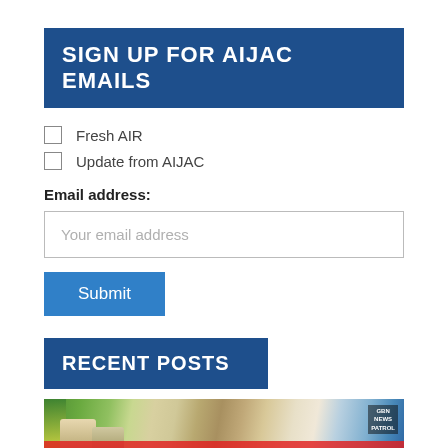SIGN UP FOR AIJAC EMAILS
Fresh AIR
Update from AIJAC
Email address:
Your email address
Submit
RECENT POSTS
[Figure (photo): Photo showing people at what appears to be a political rally or event with banners and flags]